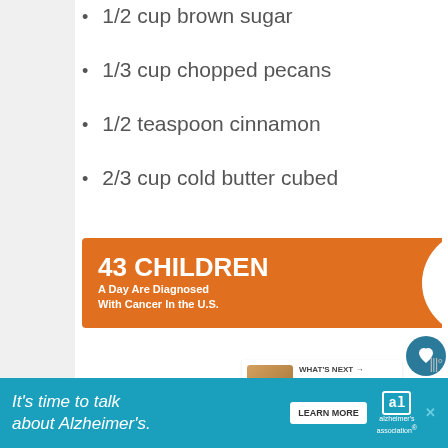1/2 cup brown sugar
1/3 cup chopped pecans
1/2 teaspoon cinnamon
2/3 cup cold butter cubed
[Figure (other): Advertisement banner: '43 CHILDREN A Day Are Diagnosed With Cancer In the U.S.' with cookies for kids' cancer logo and 'Let's Get Baking' call to action]
[Figure (other): Bottom advertisement: 'It's time to talk about Alzheimer's.' with Alzheimer's Association logo and Learn More button]